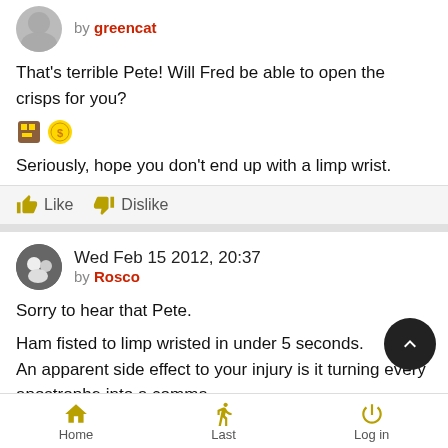by greencat
That's terrible Pete! Will Fred be able to open the crisps for you?
Seriously, hope you don't end up with a limp wrist.
Like   Dislike
Wed Feb 15 2012, 20:37 by Rosco
Sorry to hear that Pete.

Ham fisted to limp wristed in under 5 seconds.
An apparent side effect to your injury is it turning every apostrophe into a comma.
Trust Fred will be feeding you grapes and opening your crisps in
Home   Last   Log in